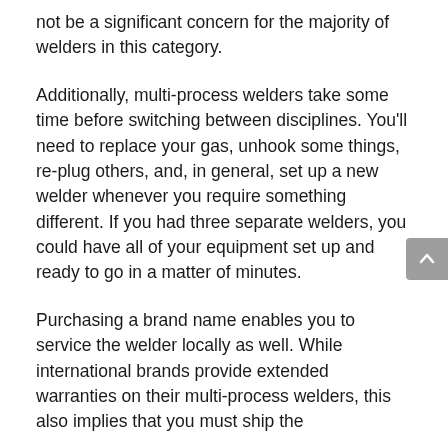not be a significant concern for the majority of welders in this category.
Additionally, multi-process welders take some time before switching between disciplines. You'll need to replace your gas, unhook some things, re-plug others, and, in general, set up a new welder whenever you require something different. If you had three separate welders, you could have all of your equipment set up and ready to go in a matter of minutes.
Purchasing a brand name enables you to service the welder locally as well. While international brands provide extended warranties on their multi-process welders, this also implies that you must ship the